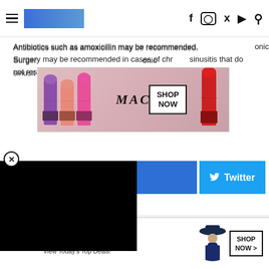Navigation bar with hamburger menu, logo, and social icons (Facebook, Instagram, Twitter, YouTube, Search)
[Figure (advertisement): MAC cosmetics banner ad showing colorful lipsticks with MAC logo and SHOP NOW button]
Antibiotics such as amoxicillin may be recommended. Surgery may be recommended in cases of chronic sinusitis that do not respond to other causes.
[Figure (other): Close (X) button in a circle]
[Figure (other): Black media/video box overlay]
[Figure (other): Blue share button and Twitter share button]
[Figure (other): Gray advertisement placeholder area with CLOSE button]
[Figure (advertisement): Bloomingdales banner ad with logo, 'View Today's Top Deals!' text, fashion model, and SHOP NOW button]